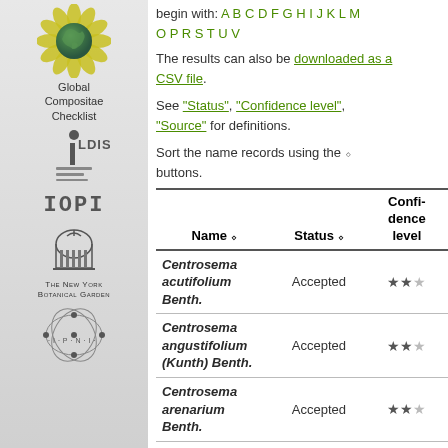[Figure (logo): Global Compositae Checklist logo - sunflower with earth]
Global
Compositae
Checklist
[Figure (logo): ILDIS logo]
[Figure (logo): IOPI logo]
[Figure (logo): The New York Botanical Garden logo]
[Figure (logo): IPNI logo]
begin with: A B C D F G H I J K L M
O P R S T U V
The results can also be downloaded as a CSV file.
See "Status", "Confidence level", "Source" for definitions.
Sort the name records using the ⬦ buttons.
| Name | Status | Confi-
dence
level |
| --- | --- | --- |
| Centrosema acutifolium Benth. | Accepted | ★★ |
| Centrosema angustifolium (Kunth) Benth. | Accepted | ★★ |
| Centrosema arenarium Benth. | Accepted | ★★ |